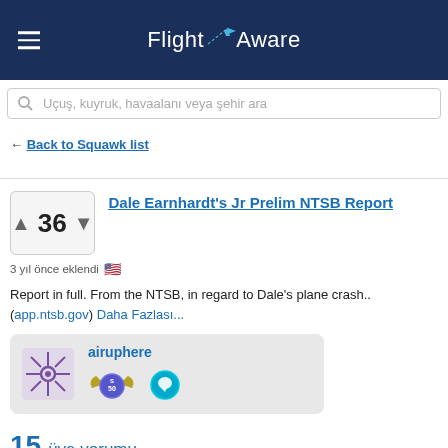[Figure (logo): FlightAware logo with airplane icon on dark navy background, hamburger menu icon on the left]
Uçuş, kuyruk, havaalanı veya şehir ara
← Back to Squawk list
Dale Earnhardt's Jr Prelim NTSB Report
3 yıl önce eklendi 🇺🇸
Report in full. From the NTSB, in regard to Dale's plane crash.. (app.ntsb.gov) Daha Fazlası...
[Figure (screenshot): User card for 'airuphere' with avatar (purple snowflake icon), username link, and two badge icons (blue shield badge with 'S 50' and teal circular badge)]
15 üye yorumu